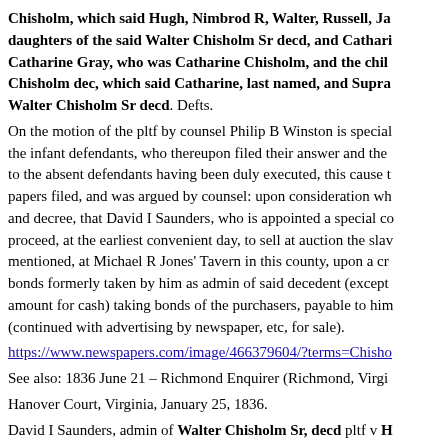Chisholm, which said Hugh, Nimbrod R, Walter, Russell, Ja daughters of the said Walter Chisholm Sr decd, and Cathari Catharine Gray, who was Catharine Chisholm, and the chil Chisholm dec, which said Catharine, last named, and Supra Walter Chisholm Sr decd. Defts.
On the motion of the pltf by counsel Philip B Winston is special the infant defendants, who thereupon filed their answer and the to the absent defendants having been duly executed, this cause t papers filed, and was argued by counsel: upon consideration wh and decree, that David I Saunders, who is appointed a special co proceed, at the earliest convenient day, to sell at auction the slav mentioned, at Michael R Jones' Tavern in this county, upon a cr bonds formerly taken by him as admin of said decedent (except amount for cash) taking bonds of the purchasers, payable to him (continued with advertising by newspaper, etc, for sale).
https://www.newspapers.com/image/466379604/?terms=Chisho
See also: 1836 June 21 – Richmond Enquirer (Richmond, Virgi
Hanover Court, Virginia, January 25, 1836.
David I Saunders, admin of Walter Chisholm Sr, decd pltf v H